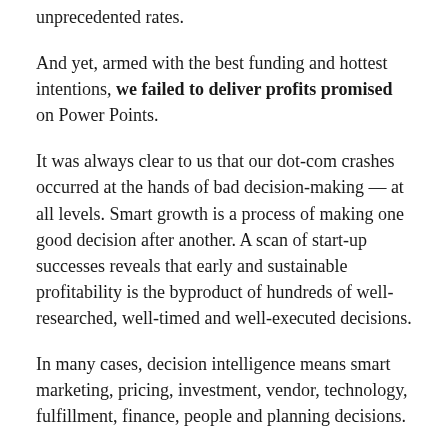unprecedented rates.
And yet, armed with the best funding and hottest intentions, we failed to deliver profits promised on Power Points.
It was always clear to us that our dot-com crashes occurred at the hands of bad decision-making — at all levels. Smart growth is a process of making one good decision after another. A scan of start-up successes reveals that early and sustainable profitability is the byproduct of hundreds of well-researched, well-timed and well-executed decisions.
In many cases, decision intelligence means smart marketing, pricing, investment, vendor, technology, fulfillment, finance, people and planning decisions.
In all, we saw the following five decision-making flaws at the root of start-up failures.